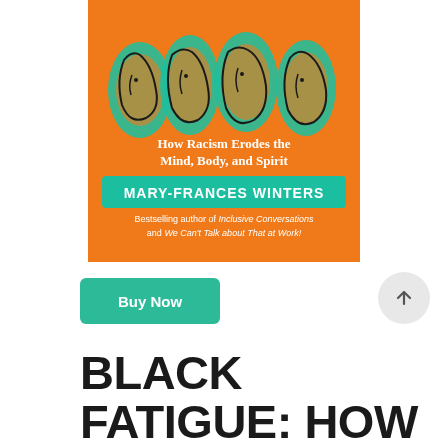[Figure (illustration): Book cover of 'Black Fatigue: How Racism Erodes the Mind, Body, and Spirit' by Mary-Frances Winters. Orange background with four teal/dark outlined face illustrations. Subtitle text 'How Racism Erodes the Mind, Body, and Spirit', author name 'Mary-Frances Winters' in teal banner, and note 'Bestselling author of Inclusive Conversations and We Can't Talk about That at Work!']
Buy Now
BLACK FATIGUE: HOW